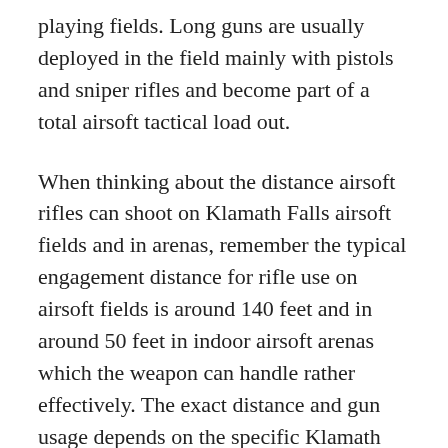playing fields. Long guns are usually deployed in the field mainly with pistols and sniper rifles and become part of a total airsoft tactical load out.
When thinking about the distance airsoft rifles can shoot on Klamath Falls airsoft fields and in arenas, remember the typical engagement distance for rifle use on airsoft fields is around 140 feet and in around 50 feet in indoor airsoft arenas which the weapon can handle rather effectively. The exact distance and gun usage depends on the specific Klamath Falls, OR airsoft field rules. The gun shoots airsoft BBs quickly in semi-auto or full-auto select fire modes and is durably built and solidly constructed. With the proper care and weapon maintenance, airsoft rifles will probably last for lots of skirmishes of airsoft on Klamath Falls, OR fields